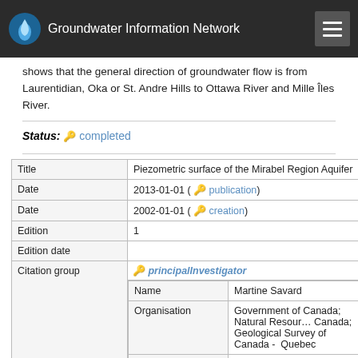Groundwater Information Network
shows that the general direction of groundwater flow is from Laurentidian, Oka or St. Andre Hills to Ottawa River and Mille Îles River.
Status: completed
| Field | Value |
| --- | --- |
| Title | Piezometric surface of the Mirabel Region Aquifer |
| Date | 2013-01-01 ( publication) |
| Date | 2002-01-01 ( creation) |
| Edition | 1 |
| Edition date |  |
| Citation group | principalInvestigator | Name: Martine Savard | Organisation: Government of Canada; Natural Resources Canada; Geological Survey of Canada - Quebec | Position: | Information | Address | Delivery point: 490 r... |